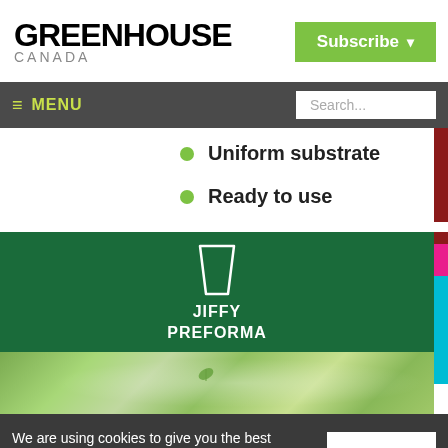GREENHOUSE CANADA | Subscribe
≡ MENU | Search...
Uniform substrate
Ready to use
[Figure (illustration): Jiffy Preforma product banner with green background, white cup icon, and text JIFFY PREFORMA, with a blurred green plant photo below]
We are using cookies to give you the best experience on our website.
By continuing to use the site, you agree to the use of cookies.
To find out more, read our privacy policy.